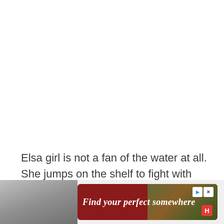Elsa girl is not a fan of the water at all. She jumps on the shelf to fight with the little sprayers there when they are on. Otherwise, she keeps a safe distance at all times.
[Figure (other): Advertisement banner: red rounded rectangle with text 'Find your perfect somewhere' in italic white bold font, play and close buttons in top right, HotelTonight red icon in bottom right corner, background shows outdoor scene with greenery. Left side shows a partial photo in gray tones.]